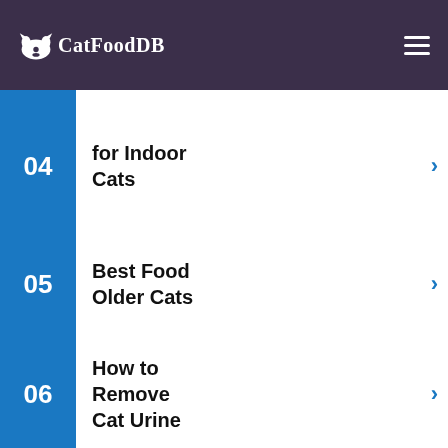CatFoodDB
04 for Indoor Cats
05 Best Food Older Cats
06 How to Remove Cat Urine
ezoic  report this ad
— SAVE —